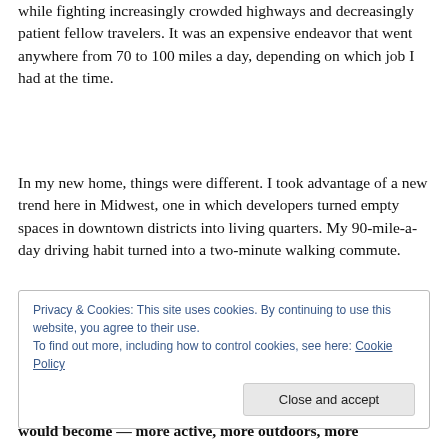while fighting increasingly crowded highways and decreasingly patient fellow travelers. It was an expensive endeavor that went anywhere from 70 to 100 miles a day, depending on which job I had at the time.
In my new home, things were different. I took advantage of a new trend here in Midwest, one in which developers turned empty spaces in downtown districts into living quarters. My 90-mile-a-day driving habit turned into a two-minute walking commute.
I learned more about Tulsa when I moved downtown. You
Privacy & Cookies: This site uses cookies. By continuing to use this website, you agree to their use.
To find out more, including how to control cookies, see here: Cookie Policy
would become — more active, more outdoors, more